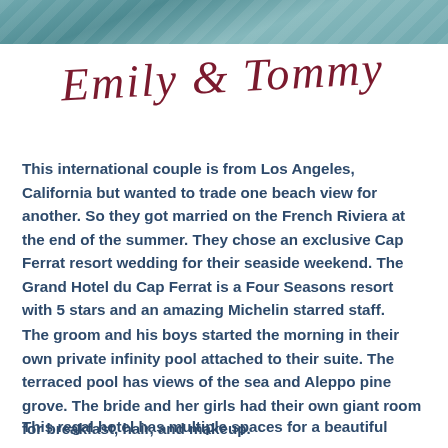[Figure (photo): Partial photo at top of page, showing what appears to be an outdoor scene with teal/blue-green tones, possibly a poolside or seaside setting.]
Emily & Tommy
This international couple is from Los Angeles, California but wanted to trade one beach view for another. So they got married on the French Riviera at the end of the summer. They chose an exclusive Cap Ferrat resort wedding for their seaside weekend. The Grand Hotel du Cap Ferrat is a Four Seasons resort with 5 stars and an amazing Michelin starred staff.
The groom and his boys started the morning in their own private infinity pool attached to their suite. The terraced pool has views of the sea and Aleppo pine grove. The bride and her girls had their own giant room for breakfast, hair, and makeup.
This regal hotel has multiple spaces for a beautiful